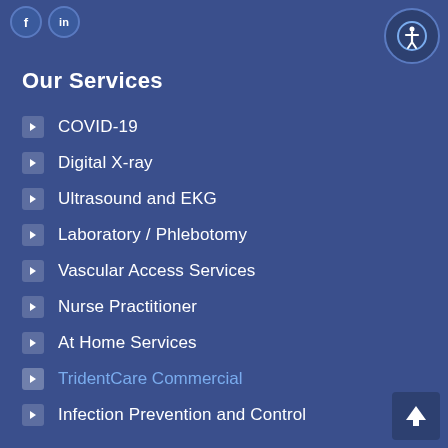f in
[Figure (illustration): Accessibility icon button - person in circle, dark blue background]
Our Services
COVID-19
Digital X-ray
Ultrasound and EKG
Laboratory / Phlebotomy
Vascular Access Services
Nurse Practitioner
At Home Services
TridentCare Commercial
Infection Prevention and Control
[Figure (illustration): Back to top arrow button - white upward arrow on dark blue square]